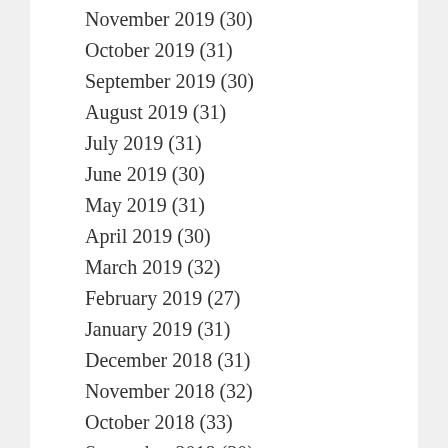November 2019 (30)
October 2019 (31)
September 2019 (30)
August 2019 (31)
July 2019 (31)
June 2019 (30)
May 2019 (31)
April 2019 (30)
March 2019 (32)
February 2019 (27)
January 2019 (31)
December 2018 (31)
November 2018 (32)
October 2018 (33)
September 2018 (30)
August 2018 (31)
July 2018 (32)
June 2018 (30)